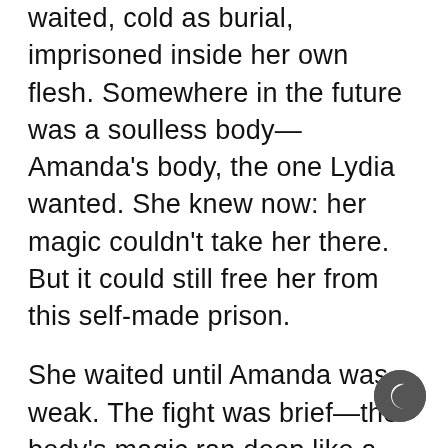waited, cold as burial, imprisoned inside her own flesh. Somewhere in the future was a soulless body—Amanda's body, the one Lydia wanted. She knew now: her magic couldn't take her there. But it could still free her from this self-made prison.
She waited until Amanda was weak. The fight was brief—the body's magic ran deep like a well, and Lydia knew how to tap it. Amanda did not, and was defenseless. Lydia rose from the icy place inside and summoned power from her own blood. She started with her fingertips, the muscles clenching at her command, and worked her way into the body's organs. She wrapped Amanda in tendons and bile before pushing her into darkness. Lydia buried her in the body, grieving. Her guilt was a stain she would never scrub out. But she felt her life returning, once she